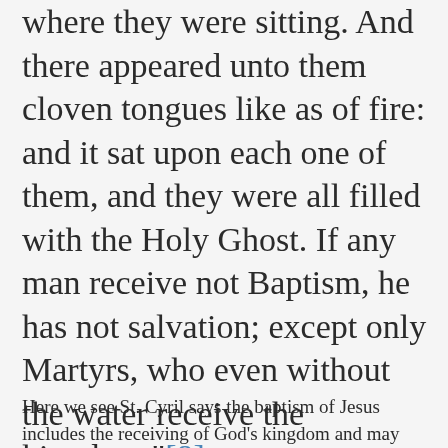where they were sitting. And there appeared unto them cloven tongues like as of fire: and it sat upon each one of them, and they were all filled with the Holy Ghost. If any man receive not Baptism, he has not salvation; except only Martyrs, who even without the water receive the kingdom."[8]
Here we see St. Cyril says the baptism of Jesus includes the receiving of God's kingdom and may